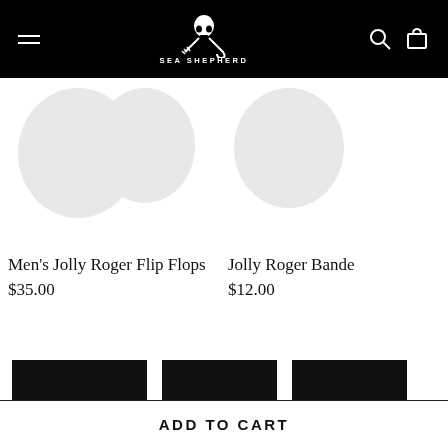SEA SHEPHERD
[Figure (screenshot): Product listing showing two items: Men's Jolly Roger Flip Flops at $35.00 and Jolly Roger Bandana at $12.00, with placeholder circles for product images. Bottom shows thumbnail images and an Add to Cart button.]
Men's Jolly Roger Flip Flops
$35.00
Jolly Roger Bande...
$12.00
ADD TO CART